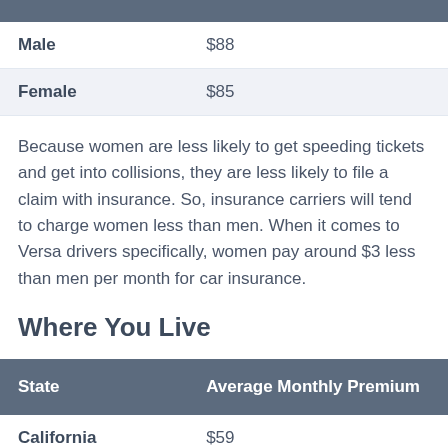|  |  |
| --- | --- |
| Male | $88 |
| Female | $85 |
Because women are less likely to get speeding tickets and get into collisions, they are less likely to file a claim with insurance. So, insurance carriers will tend to charge women less than men. When it comes to Versa drivers specifically, women pay around $3 less than men per month for car insurance.
Where You Live
| State | Average Monthly Premium |
| --- | --- |
| California | $59 |